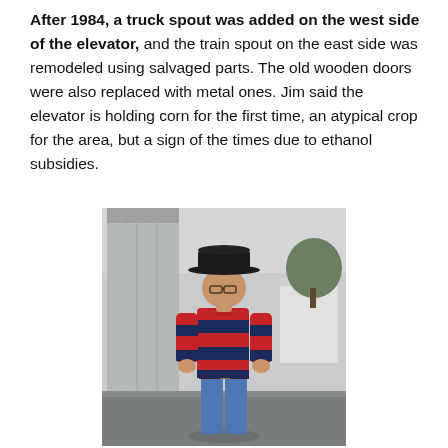After 1984, a truck spout was added on the west side of the elevator, and the train spout on the east side was remodeled using salvaged parts. The old wooden doors were also replaced with metal ones. Jim said the elevator is holding corn for the first time, an atypical crop for the area, but a sign of the times due to ethanol subsidies.
[Figure (photo): A man wearing a black cowboy hat and a red and navy striped long-sleeve shirt stands in front of a large grain elevator/silo structure. He is wearing jeans with a belt. A white building and trees are visible in the background.]